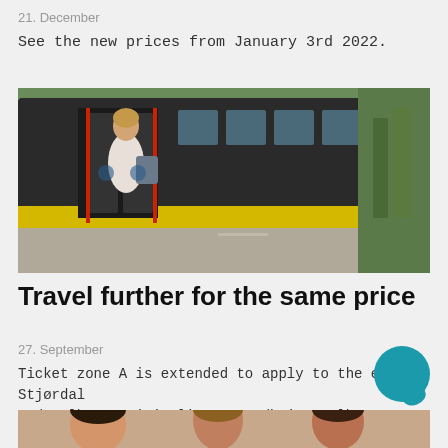21. December
See the new prices from January 3rd 2022.
[Figure (photo): A woman boarding a yellow and black city bus, holding a bag, with trees in the background.]
Travel further for the same price
27. September
Ticket zone A is extended to apply to the entire Stjørdal and Melhus municipality. Trondheim, Melhus, Malvik and Stjørdal gets equal price on period tickets for buses, trams and trains. Even more reasons to travel by public transport!
[Figure (photo): Partial view of people at the bottom of the page.]